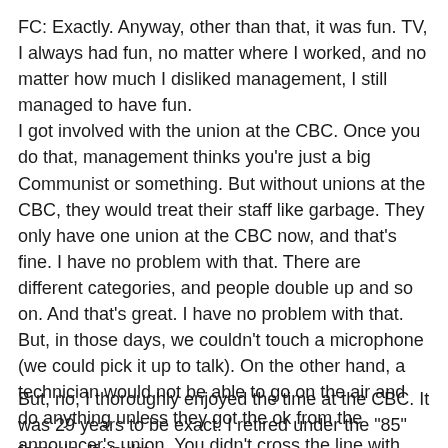FC: Exactly. Anyway, other than that, it was fun. TV, I always had fun, no matter where I worked, and no matter how much I disliked management, I still managed to have fun. I got involved with the union at the CBC. Once you do that, management thinks you're just a big Communist or something. But without unions at the CBC, they would treat their staff like garbage. They only have one union at the CBC now, and that's fine. I have no problem with that. There are different categories, and people double up and so on. And that's great. I have no problem with that. But, in those days, we couldn't touch a microphone (we could pick it up to talk). On the other hand, a technician would not be able to go on the air and do anything unless they got the ok from the announcer's union. You didn't cross the line with technical stuff. You could turn your mic on and off, but the technician controlled everything else. You didn't play your own records. There was a master control room that was full of technicians taking feeds from various places.
But, no, I thoroughly enjoyed the time at the CBC. It was 29 years to be exact. I retired under the "85" formula. If you're